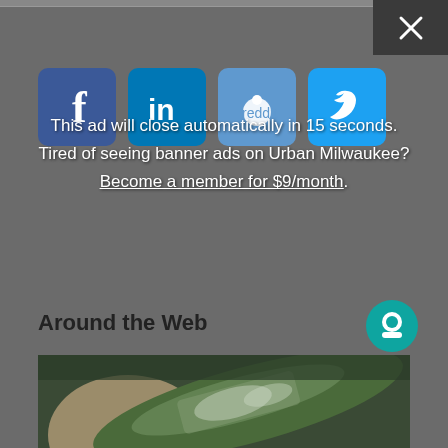[Figure (screenshot): Screenshot of Urban Milwaukee webpage with ad overlay showing social share icons (Facebook, LinkedIn, Reddit, Twitter), ad countdown message, close button, Around the Web section header with Taboola logo, and a photo of a hand holding a damaged leaf]
This ad will close automatically in 15 seconds.
Tired of seeing banner ads on Urban Milwaukee?
Become a member for $9/month.
Around the Web